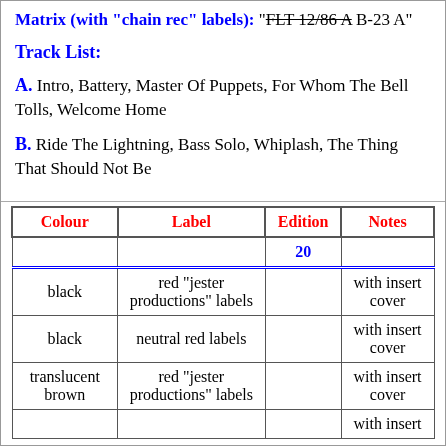Matrix (with "chain rec" labels): "FLT 12/86 A B-23 A"
Track List:
A. Intro, Battery, Master Of Puppets, For Whom The Bell Tolls, Welcome Home
B. Ride The Lightning, Bass Solo, Whiplash, The Thing That Should Not Be
| Colour | Label | Edition | Notes |
| --- | --- | --- | --- |
|  |  | 20 |  |
| black | red "jester productions" labels |  | with insert cover |
| black | neutral red labels |  | with insert cover |
| translucent brown | red "jester productions" labels |  | with insert cover |
|  |  |  | with insert |